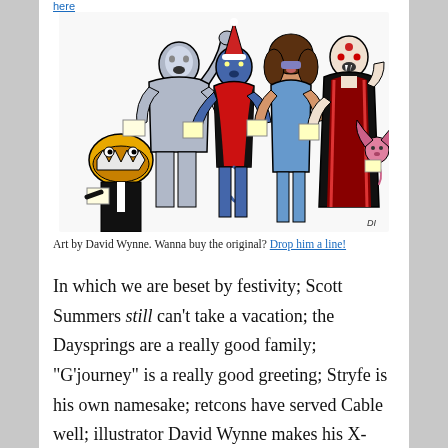here
[Figure (illustration): Comic-style illustration of five Marvel X-Men/mutant characters standing together and singing carols. From left to right: a yellow creature with a large toothed mouth wearing a suit, a tall muscular silver/grey figure, a blue-skinned figure in red and black with a Santa hat, a woman with curly brown hair, and a vampiric figure in a black and red cape. A small pink winged demon appears on the far right. Each character holds what appears to be a carol sheet. Artist signature 'DI' in lower right.]
Art by David Wynne. Wanna buy the original? Drop him a line!
In which we are beset by festivity; Scott Summers still can't take a vacation; the Daysprings are a really good family; "G'journey" is a really good greeting; Stryfe is his own namesake; retcons have served Cable well; illustrator David Wynne makes his X-Plain